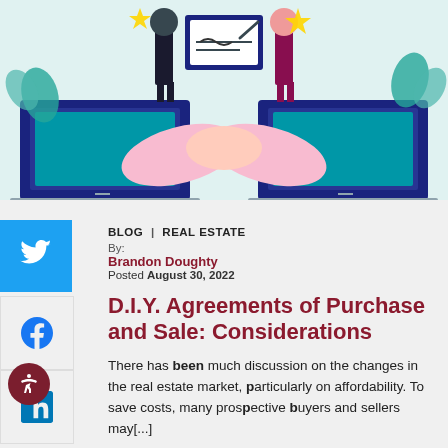[Figure (illustration): Flat design illustration showing two people at laptops with a handshake in the center, stars, plants, and a contract being signed, representing a real estate agreement or virtual business deal.]
BLOG | REAL ESTATE
By:
Brandon Doughty
Posted August 30, 2022
D.I.Y. Agreements of Purchase and Sale: Considerations
There has been much discussion on the changes in the real estate market, particularly on affordability. To save costs, many prospective buyers and sellers may[...]